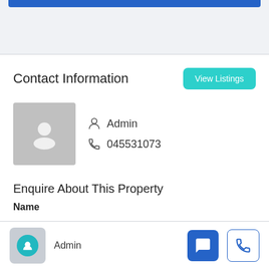Contact Information
Admin
045531073
Enquire About This Property
Name
Admin